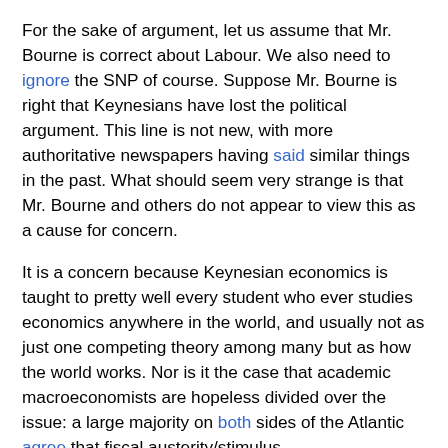For the sake of argument, let us assume that Mr. Bourne is correct about Labour. We also need to ignore the SNP of course. Suppose Mr. Bourne is right that Keynesians have lost the political argument. This line is not new, with more authoritative newspapers having said similar things in the past. What should seem very strange is that Mr. Bourne and others do not appear to view this as a cause for concern.
It is a concern because Keynesian economics is taught to pretty well every student who ever studies economics anywhere in the world, and usually not as just one competing theory among many but as how the world works. Nor is it the case that academic macroeconomists are hopeless divided over the issue: a large majority on both sides of the Atlantic agree that fiscal austerity/stimulus reduces/enhances growth when monetary policy cannot offset its impact. Most major central banks use Keynesian theory as a basis for their monetary policy decisions. The reason for all this is that the evidence overwhelmingly backs Keynesian ideas, including that fiscal contraction tends to reduce output.
Given all this, if all three major UK political parties are